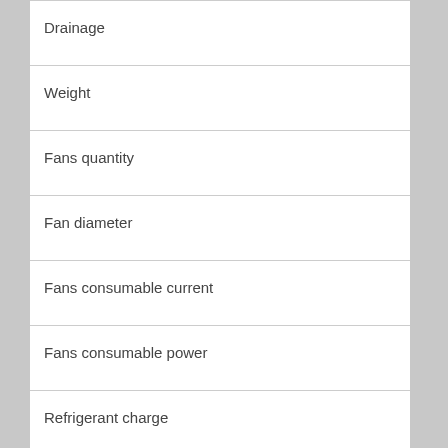Drainage
Weight
Fans quantity
Fan diameter
Fans consumable current
Fans consumable power
Refrigerant charge